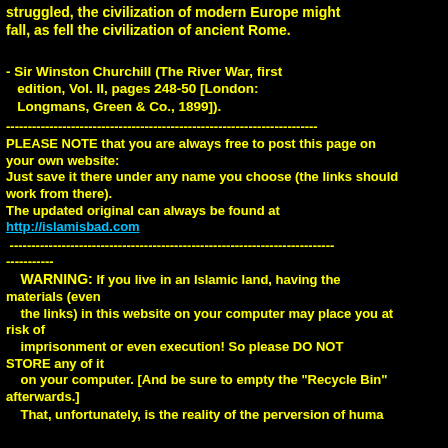struggled, the civilization of modern Europe might fall, as fell the civilization of ancient Rome.
- Sir Winston Churchill (The River War, first edition, Vol. II, pages 248-50 [London: Longmans, Green & Co., 1899]).
------------------------------------------------------------------------
PLEASE NOTE that you are always free to post this page on your own website:
Just save it there under any name you choose (the links should work from there).
The updated original can always be found at
http://islamisbad.com
---------------------------------------------------------------------------
-----------
WARNING: If you live in an Islamic land, having the materials (even the links) in this website on your computer may place you at risk of imprisonment or even execution! So please DO NOT STORE any of it on your computer. [And be sure to empty the "Recycle Bin" afterwards.] That, unfortunately, is the reality of the perversion of huma...